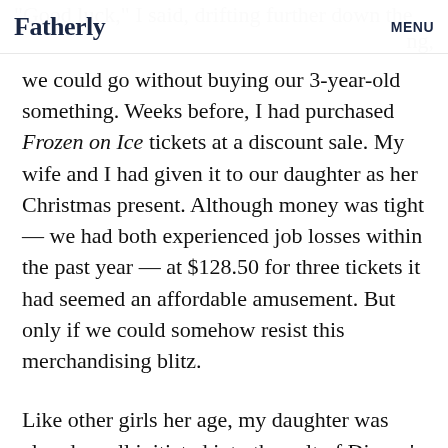Fatherly  MENU
"Good luck," I said, drifting further down the aisle with growing alarm. I didn't know how long we could go without buying our 3-year-old something. Weeks before, I had purchased Frozen on Ice tickets at a discount sale. My wife and I had given it to our daughter as her Christmas present. Although money was tight — we had both experienced job losses within the past year — at $128.50 for three tickets it had seemed an affordable amusement. But only if we could somehow resist this merchandising blitz.
Like other girls her age, my daughter was already well initiated into the cult of Disney's Frozen. She could sing “Let It Go” by heart, albeit with bizarrely modified lyrics. She often started shredding her arm and leg hair...